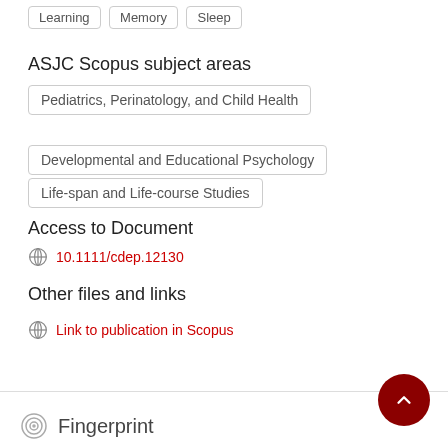Learning
Memory
Sleep
ASJC Scopus subject areas
Pediatrics, Perinatology, and Child Health
Developmental and Educational Psychology
Life-span and Life-course Studies
Access to Document
10.1111/cdep.12130
Other files and links
Link to publication in Scopus
Fingerprint